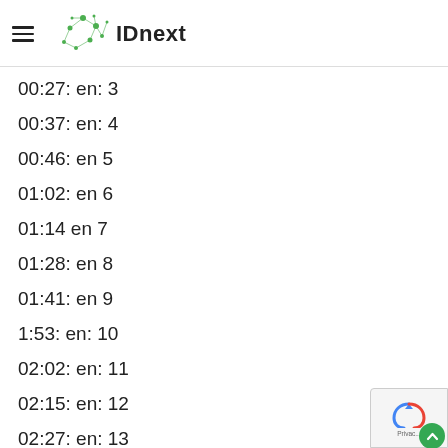IDnext
00:27: en: 3
00:37: en: 4
00:46: en 5
01:02: en 6
01:14 en 7
01:28: en 8
01:41: en 9
1:53: en: 10
02:02: en: 11
02:15: en: 12
02:27: en: 13